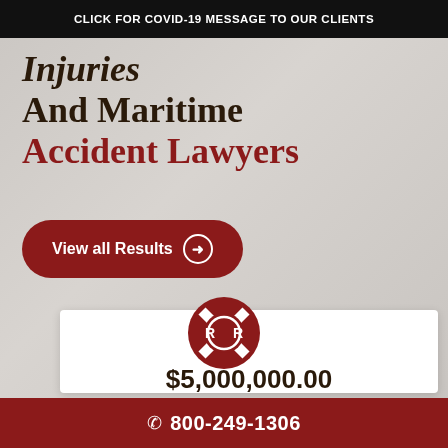CLICK FOR COVID-19 MESSAGE TO OUR CLIENTS
Injuries And Maritime Accident Lawyers
View all Results
[Figure (logo): Railroad crossing sign logo with RR letters in dark red circle]
$5,000,000.00
Engineer, conductor & brakeman v. Railroad & trucking company
Train Accident
800-249-1306